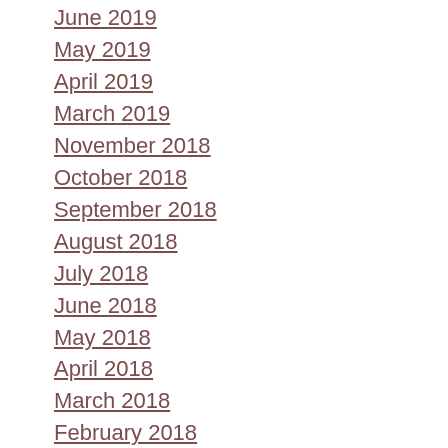June 2019
May 2019
April 2019
March 2019
November 2018
October 2018
September 2018
August 2018
July 2018
June 2018
May 2018
April 2018
March 2018
February 2018
January 2018
December 2017
November 2017
October 2017
September 2017